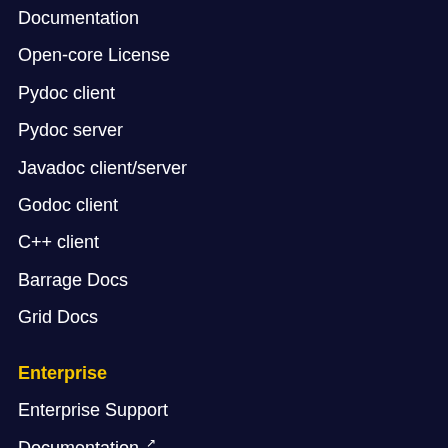Documentation
Open-core License
Pydoc client
Pydoc server
Javadoc client/server
Godoc client
C++ client
Barrage Docs
Grid Docs
Enterprise
Enterprise Support
Documentation ↗
Legacy Documentation ↗